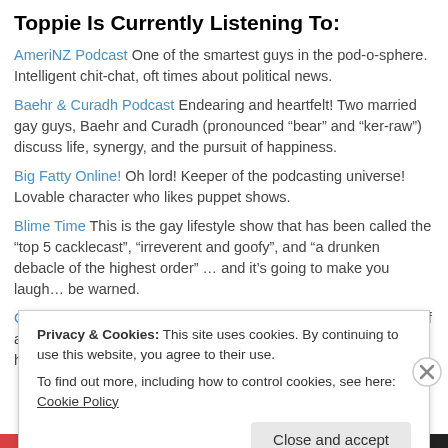Toppie Is Currently Listening To:
AmeriNZ Podcast One of the smartest guys in the pod-o-sphere. Intelligent chit-chat, oft times about political news.
Baehr & Curadh Podcast Endearing and heartfelt! Two married gay guys, Baehr and Curadh (pronounced “bear” and “ker-raw”) discuss life, synergy, and the pursuit of happiness.
Big Fatty Online! Oh lord! Keeper of the podcasting universe! Lovable character who likes puppet shows.
Blime Time This is the gay lifestyle show that has been called the “top 5 cacklecast”, “irreverent and goofy”, and “a drunken debacle of the highest order” … and it’s going to make you laugh… be warned.
Chubs Gone Wild The LGBT podcast that celebrates everyone of all shapes and sizes, and recognizes that sometimes bigger IS hotter!
Privacy & Cookies: This site uses cookies. By continuing to use this website, you agree to their use.
To find out more, including how to control cookies, see here: Cookie Policy